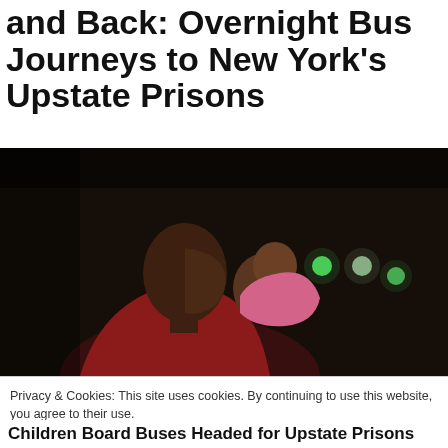and Back: Overnight Bus Journeys to New York's Upstate Prisons
[Figure (photo): A woman seen in profile holding a baby/young child in a dark nighttime setting, with faint green lights visible in the background]
Privacy & Cookies: This site uses cookies. By continuing to use this website, you agree to their use.
To find out more, including how to control cookies, see here: Cookie Policy
Close and accept
Children Board Buses Headed for Upstate Prisons